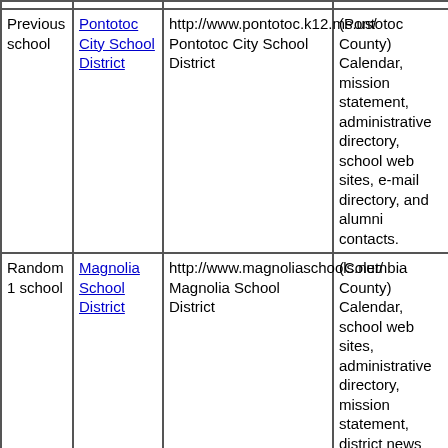| Type | District | URL / Name | Features |
| --- | --- | --- | --- |
| Previous school | Pontotoc City School District | http://www.pontotoc.k12.ms.us/ Pontotoc City School District | (Pontotoc County) Calendar, mission statement, administrative directory, school web sites, e-mail directory, and alumni contacts. |
| Random 1 school | Magnolia School District | http://www.magnoliaschools.net/ Magnolia School District | (Columbia County) Calendar, school web sites, administrative directory, mission statement, district news and history, financial and |